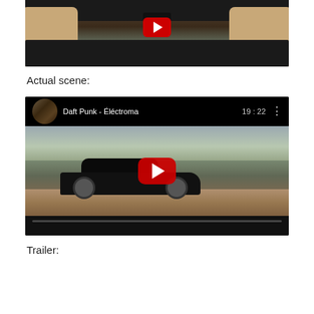[Figure (screenshot): Car interior viewed from behind through rear windshield, showing tan/beige seats, black dashboard, and dark frame. A small red play button is partially visible at top center.]
Actual scene:
[Figure (screenshot): YouTube embedded video player showing 'Daft Punk - Electroma' with duration 19:22. The video thumbnail shows a black car (Porsche 928) driving through a desert landscape. A large red YouTube play button is centered on the video. A small channel thumbnail icon is visible in the top-left of the player bar.]
Trailer: